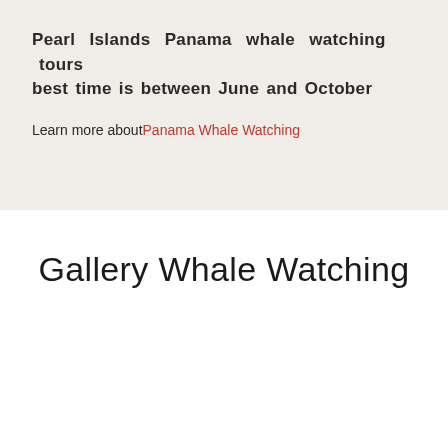Pearl Islands Panama whale watching tours best time is between June and October
Learn more about Panama Whale Watching
Gallery Whale Watching
[Figure (photo): Whale watching ocean scene with grey sky and water, with share/heart icon overlay buttons, navigation arrow, and Leave a message chat widget]